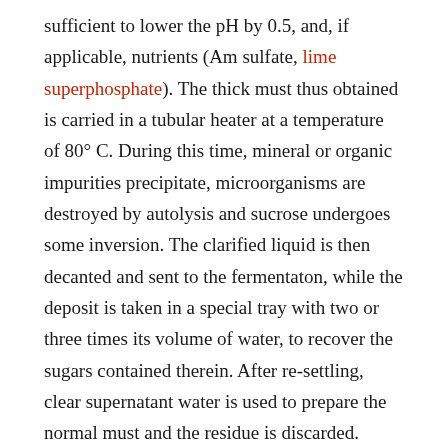sufficient to lower the pH by 0.5, and, if applicable, nutrients (Am sulfate, lime superphosphate). The thick must thus obtained is carried in a tubular heater at a temperature of 80° C. During this time, mineral or organic impurities precipitate, microorganisms are destroyed by autolysis and sucrose undergoes some inversion. The clarified liquid is then decanted and sent to the fermentaton, while the deposit is taken in a special tray with two or three times its volume of water, to recover the sugars contained therein. After re-settling, clear supernatant water is used to prepare the normal must and the residue is discarded.
[Keep in mind this is for Arrovo's treatment for ethanol